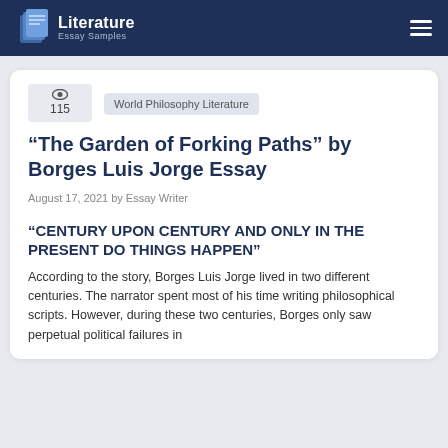Literature Essay Samples
115
World Philosophy Literature
“The Garden of Forking Paths” by Borges Luis Jorge Essay
August 17, 2021 by Essay Writer
“CENTURY UPON CENTURY AND ONLY IN THE PRESENT DO THINGS HAPPEN”
According to the story, Borges Luis Jorge lived in two different centuries. The narrator spent most of his time writing philosophical scripts. However, during these two centuries, Borges only saw perpetual political failures in